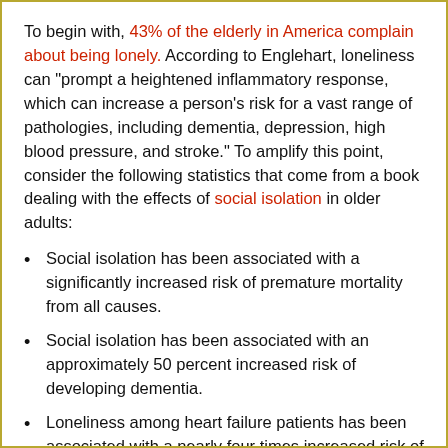To begin with, 43% of the elderly in America complain about being lonely. According to Englehart, loneliness can "prompt a heightened inflammatory response, which can increase a person's risk for a vast range of pathologies, including dementia, depression, high blood pressure, and stroke." To amplify this point, consider the following statistics that come from a book dealing with the effects of social isolation in older adults:
Social isolation has been associated with a significantly increased risk of premature mortality from all causes.
Social isolation has been associated with an approximately 50 percent increased risk of developing dementia.
Loneliness among heart failure patients has been associated with a nearly four times increased risk of death, 68 percent increased risk of hospitalization, and 57 percent increased risk of emergency department visits.
Poor social relationships (characterized by social isolation and loneliness) are associated with a 29...